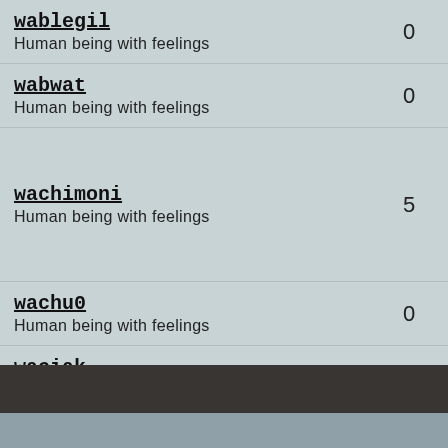| Username / Description | Count |
| --- | --- |
| wablegil
Human being with feelings | 0 |
| wabwat
Human being with feelings | 0 |
| wachimoni
Human being with feelings | 5 |
| wachu0
Human being with feelings | 0 |
| waciak
Human being with feelings | 0 |